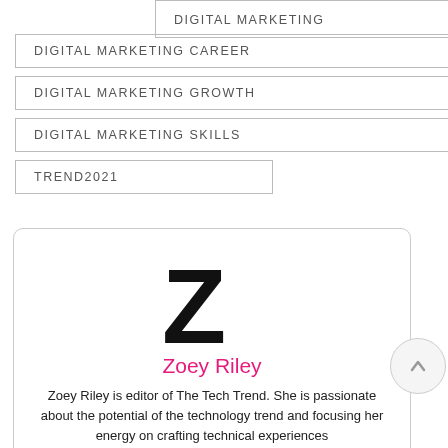DIGITAL MARKETING
DIGITAL MARKETING CAREER
DIGITAL MARKETING GROWTH
DIGITAL MARKETING SKILLS
TREND2021
[Figure (illustration): Large bold letter Z used as author avatar/logo]
Zoey Riley
Zoey Riley is editor of The Tech Trend. She is passionate about the potential of the technology trend and focusing her energy on crafting technical experiences